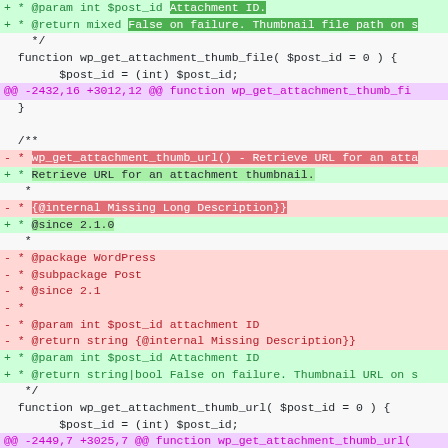[Figure (screenshot): Code diff view showing changes to WordPress attachment functions wp_get_attachment_thumb_file and wp_get_attachment_thumb_url, with added lines in green and removed lines in red, and diff hunk headers in purple.]